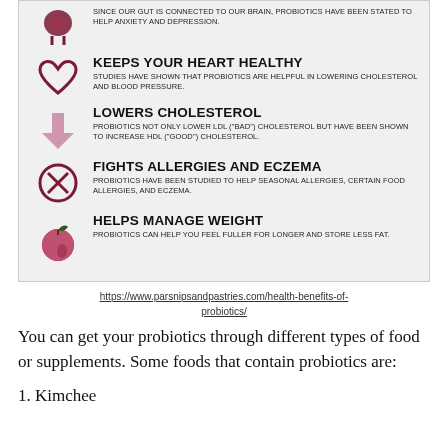[Figure (infographic): Infographic listing health benefits of probiotics with icons: gut-brain connection helps anxiety/depression, keeps heart healthy, lowers cholesterol, fights allergies and eczema, helps manage weight.]
https://www.parsnipsandpastries.com/health-benefits-of-probiotics/
You can get your probiotics through different types of food or supplements. Some foods that contain probiotics are:
1. Kimchee